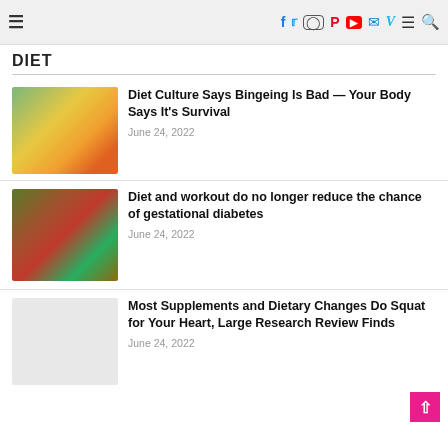≡   f  t  instagram  pinterest  youtube  mail  v  ≡  search
DIET
[Figure (photo): Overhead view of fruits, vegetables, salad, notebook and measuring tape on a table]
Diet Culture Says Bingeing Is Bad — Your Body Says It's Survival
June 24, 2022
[Figure (photo): Balanced diet food arrangement with meat, vegetables, fruits and letter tiles spelling BALANCED DIET]
Diet and workout do no longer reduce the chance of gestational diabetes
June 24, 2022
[Figure (photo): Plain light gray placeholder image]
Most Supplements and Dietary Changes Do Squat for Your Heart, Large Research Review Finds
June 24, 2022